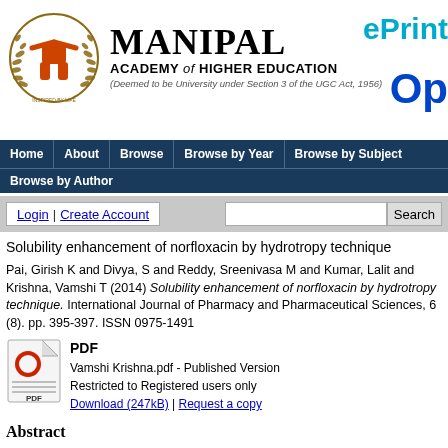[Figure (logo): Manipal Academy of Higher Education logo with ePrint and Open Access branding]
MANIPAL ACADEMY of HIGHER EDUCATION (Deemed to be University under Section 3 of the UGC Act, 1956) | ePrint | Op
Home | About | Browse | Browse by Year | Browse by Subject | Browse by Author
Login | Create Account | Search
Solubility enhancement of norfloxacin by hydrotropy technique
Pai, Girish K and Divya, S and Reddy, Sreenivasa M and Kumar, Lalit and Krishna, Vamshi T (2014) Solubility enhancement of norfloxacin by hydrotropy technique. International Journal of Pharmacy and Pharmaceutical Sciences, 6 (8). pp. 395-397. ISSN 0975-1491
[Figure (other): PDF icon - red circle O on document with PDF label]
PDF
Vamshi Krishna.pdf - Published Version
Restricted to Registered users only
Download (247kB) | Request a copy
Abstract
The objective of this study is to improve the solubility of poorly water soluble anti-bacterial drug Norfloxacin by hydrotropic solubilization technique. For the